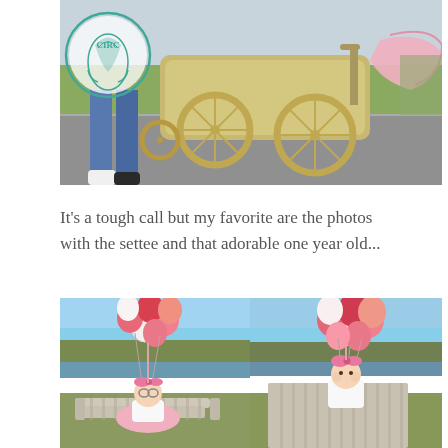[Figure (photo): Outdoor photo of a vintage gold/cream baby carriage/pram on a road, with a person's legs in jeans visible beside it and a pink blanket or clothing item draped over the carriage. A circular logo with 'CIRC' text is overlaid in the top-left corner.]
It's a tough call but my favorite are the photos with the settee and that adorable one year old...
[Figure (photo): Two side-by-side outdoor photos of a baby/toddler (approximately one year old) sitting or standing on a striped settee/chair near a lake with trees in the background. Each photo shows a large bunch of pink, red, and white balloons floating above the child. The child wears a white outfit and a pink headband/flower. Taken on a sunny day with blue sky.]